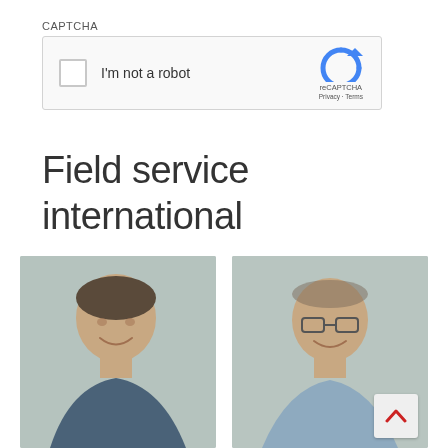CAPTCHA
[Figure (screenshot): reCAPTCHA widget with checkbox 'I'm not a robot', reCAPTCHA logo with Privacy and Terms links]
Field service international
[Figure (photo): Photo of a smiling middle-aged man in a blue patterned shirt against a light grey background]
[Figure (photo): Photo of a man wearing glasses in a light blue shirt against a light grey background]